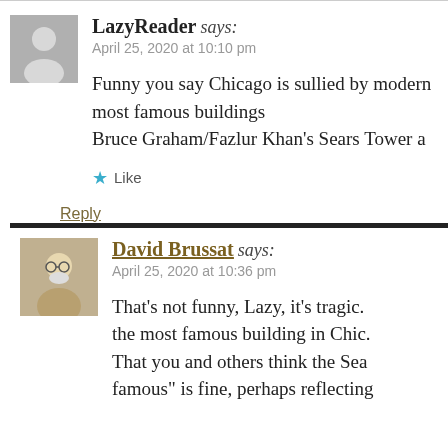LazyReader says: April 25, 2020 at 10:10 pm
Funny you say Chicago is sullied by modern most famous buildings Bruce Graham/Fazlur Khan's Sears Tower a
Like
Reply
David Brussat says: April 25, 2020 at 10:36 pm
That’s not funny, Lazy, it’s tragic. the most famous building in Chic. That you and others think the Sea famous” is fine, perhaps reflecting